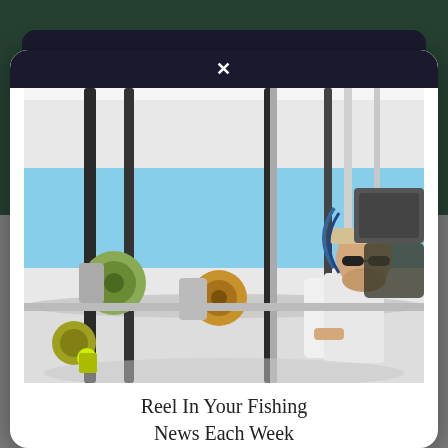[Figure (screenshot): Screenshot of a website with a modal popup overlay. Background shows a dark green fish underwater image. A dark tablet-like frame is visible. A white modal dialog with a dark top bar (X close button) overlays the screen. Inside the modal is a photo of a man in a cap and sunglasses on a fishing boat surrounded by multiple fishing rods and reels, with blue sky visible. Below the photo is text reading 'Reel In Your Fishing News Each Week'.]
Reel In Your Fishing
News Each Week